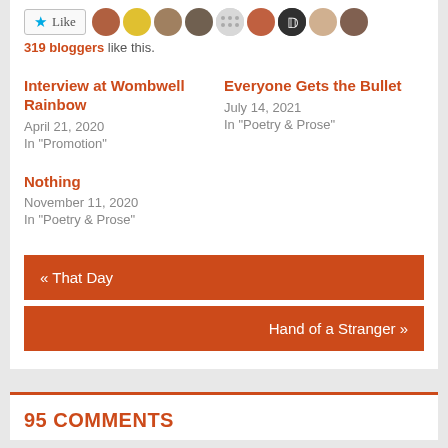319 bloggers like this.
Interview at Wombwell Rainbow
April 21, 2020
In "Promotion"
Everyone Gets the Bullet
July 14, 2021
In "Poetry & Prose"
Nothing
November 11, 2020
In "Poetry & Prose"
« That Day
Hand of a Stranger »
95 COMMENTS